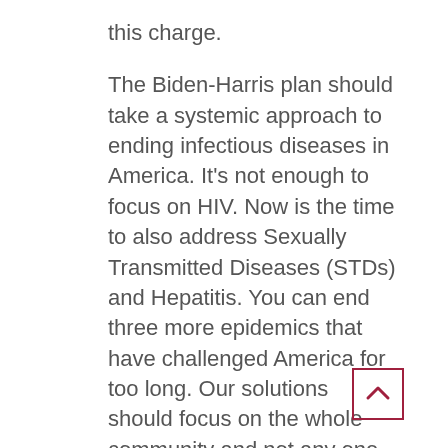this charge.

The Biden-Harris plan should take a systemic approach to ending infectious diseases in America. It's not enough to focus on HIV. Now is the time to also address Sexually Transmitted Diseases (STDs) and Hepatitis. You can end three more epidemics that have challenged America for too long. Our solutions should focus on the whole community and not any one disease. As COVID has shown us, there is a great need for comprehensive health infrastructures in too many communities in America. The plan to end HIV should serve as the foundation for bringing healthcare to communities that are too often overlooked. As we used the HIV vaccine infrastructure to test the efficacy of COVID vaccines, now we can use the HIV prevention and care infrastructure to bring long term health to communities in need.